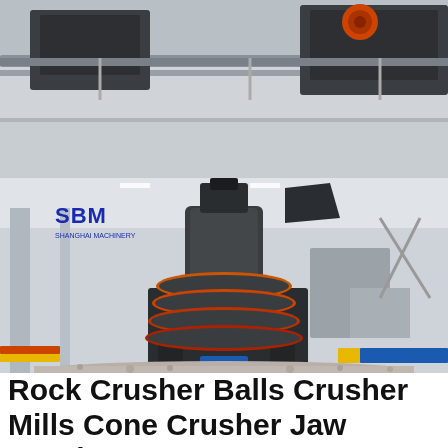[Figure (photo): Industrial machinery photo showing a track or conveyor system with metal components, viewed from close up in a factory or workshop setting.]
[Figure (photo): Industrial cone crusher machine (SBM brand) displayed in a large factory/warehouse floor. The machine is dark grey/black with orange accent rings, sitting on a pile of crushed stone aggregate. The SBM Shanghai Machinery logo is visible in the upper left.]
Rock Crusher Balls Crusher Mills Cone Crusher Jaw Crushers
Used Metal Crusher Wholesale Various High Quality Used